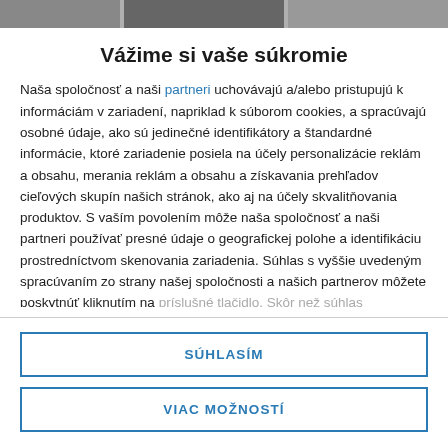[Figure (photo): Top image bar showing partial background photos]
Vážime si vaše súkromie
Naša spoločnosť a naši partneri uchovávajú a/alebo pristupujú k informáciám v zariadení, napriklad k súborom cookies, a spracúvajú osobné údaje, ako sú jedinečné identifikátory a štandardné informácie, ktoré zariadenie posiela na účely personalizácie reklám a obsahu, merania reklám a obsahu a získavania prehľadov cieľových skupín našich stránok, ako aj na účely skvalitňovania produktov. S vaším povolením môže naša spoločnosť a naši partneri používať presné údaje o geografickej polohe a identifikáciu prostredníctvom skenovania zariadenia. Súhlas s vyššie uvedeným spracúvaním zo strany našej spoločnosti a našich partnerov môžete poskytnúť kliknutím na príslušné tlačidlo. Skôr než súhlas poskytnete alebo odmietnete
SÚHLASÍM
VIAC MOŽNOSTÍ